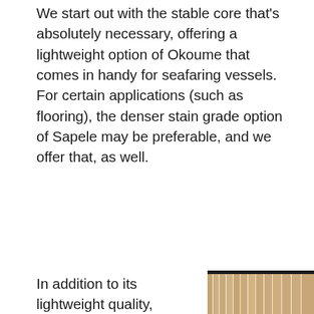We start out with the stable core that's absolutely necessary, offering a lightweight option of Okoume that comes in handy for seafaring vessels. For certain applications (such as flooring), the denser stain grade option of Sapele may be preferable, and we offer that, as well.
In addition to its lightweight quality, Okoume is an excellent species for marine panels because of its defect-free, homogenous surface. Often used for cabinetry, this species is quite soft (400 psi, according to the Janka scale), so it is not the
[Figure (photo): Close-up photograph of wood panels (Okoume or similar marine-grade wood) showing parallel light-colored wood planks with thin white lines/seams between them, viewed from an angle, against a dark background.]